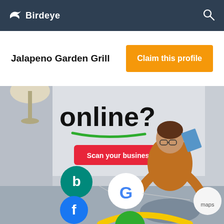Birdeye
Jalapeno Garden Grill
Claim this profile
[Figure (screenshot): Promotional image showing text 'online?' in bold black with a green underline stroke, a pink 'Scan your business' button, and a person wearing an orange sweater and glasses holding a book, surrounded by platform logos including Bing (green circle), Google (white circle with G), Facebook (blue circle with f), and Apple (white circle with Apple logo).]